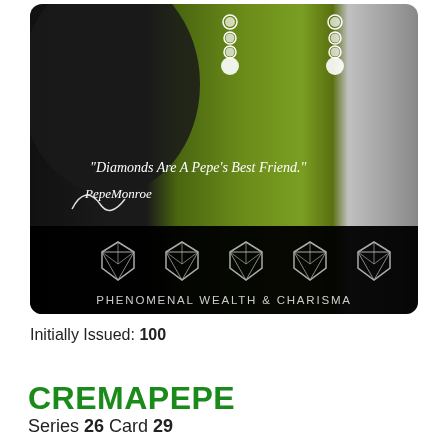[Figure (illustration): A trading card illustration showing a Pepe the Frog character styled as Marilyn Monroe, wearing diamond earrings, with a quote 'Diamonds Are A Pepe's Best Friend.' and a signature 'PepeMonroe'. The bottom bar is black with five diamond icons and text 'PHENOMENAL WEALTH & CHARISMA'.]
Initially Issued: 100
CREMAPEPE
Series 26 Card 29